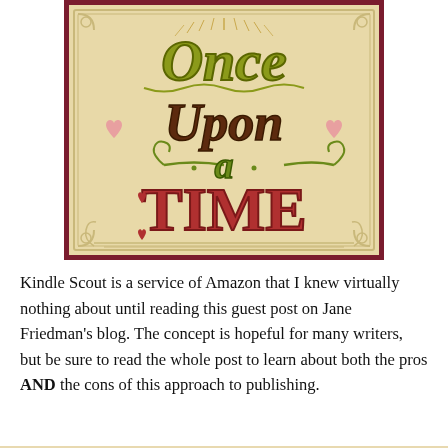[Figure (illustration): Decorative fairy-tale style lettering on aged parchment background with ornamental border, reading 'Once Upon a Time'. The words are rendered in stylized hand-lettered typography: 'Once' in olive/gold swirling letters, 'Upon' in dark brown/maroon with curls, 'a' in green with flourishes, and 'TIME' in large brick-red slab serif letters with heart serifs. Small hearts flank 'Upon'. Radiating lines above 'Once'. Dark maroon ornamental border surrounds the composition.]
Kindle Scout is a service of Amazon that I knew virtually nothing about until reading this guest post on Jane Friedman's blog. The concept is hopeful for many writers, but be sure to read the whole post to learn about both the pros AND the cons of this approach to publishing.